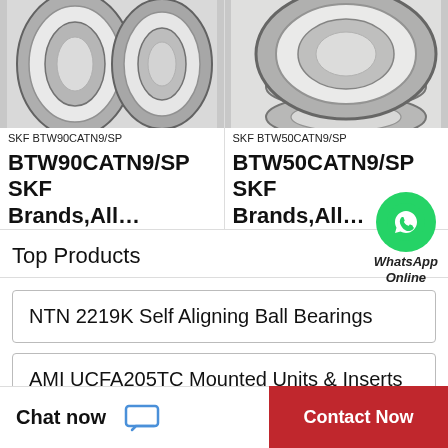[Figure (photo): Two SKF angular contact ball bearings BTW90CATN9/SP side by side, silver/chrome colored, in plastic wrapping]
SKF BTW90CATN9/SP
BTW90CATN9/SP SKF Brands,All…
[Figure (photo): Stack of SKF angular contact ball bearings BTW50CATN9/SP, silver/chrome colored, in plastic wrapping]
SKF BTW50CATN9/SP
BTW50CATN9/SP SKF Brands,All…
[Figure (logo): WhatsApp green circle logo with phone icon, labeled WhatsApp Online]
Top Products
NTN 2219K Self Aligning Ball Bearings
AMI UCFA205TC Mounted Units & Inserts
Chat now
Contact Now